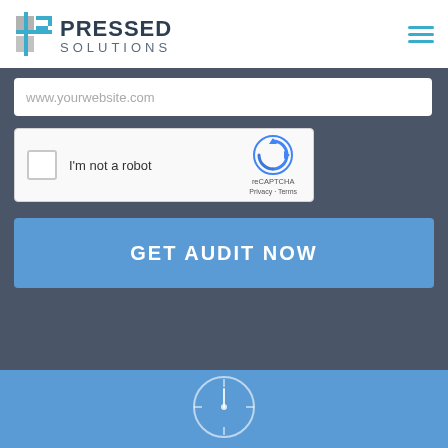[Figure (logo): Pressed Solutions logo with blue and gray icon and text]
[Figure (screenshot): Navigation hamburger menu icon with three teal horizontal lines]
www.yourwebsite.com
[Figure (screenshot): reCAPTCHA widget with checkbox, 'I'm not a robot' text, and Google reCAPTCHA logo with Privacy and Terms links]
GET AUDIT NOW
[Figure (illustration): Speedometer/gauge icon in light blue circle on blue background]